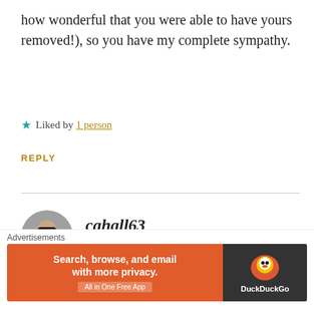how wonderful that you were able to have yours removed!), so you have my complete sympathy.
★ Liked by 1 person
REPLY
[Figure (photo): Circular avatar photo of commenter cahall63, a person with short dark hair and glasses, smiling]
cahall63
SEPTEMBER 12, 2015 AT 5:32 PM
Thanks! 47 days? Yikes!
[Figure (infographic): DuckDuckGo advertisement banner: 'Search, browse, and email with more privacy. All in One Free App' with DuckDuckGo duck logo on dark background]